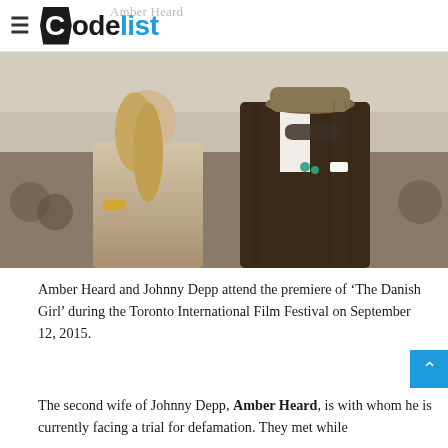Codelist
[Figure (photo): Amber Heard and Johnny Depp posing together at a red carpet event. Amber Heard is on the left wearing a beaded dress with long blonde hair. Johnny Depp is on the right wearing a brown pinstripe suit with a wide-brimmed hat and sunglasses.]
Amber Heard and Johnny Depp attend the premiere of ‘The Danish Girl’ during the Toronto International Film Festival on September 12, 2015.
The second wife of Johnny Depp, Amber Heard, is with whom he is currently facing a trial for defamation. They met while